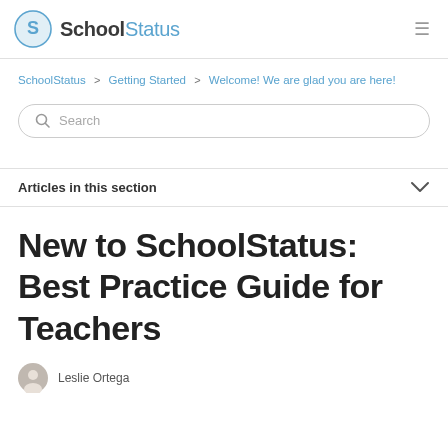SchoolStatus
SchoolStatus > Getting Started > Welcome! We are glad you are here!
Search
Articles in this section
New to SchoolStatus: Best Practice Guide for Teachers
Leslie Ortega